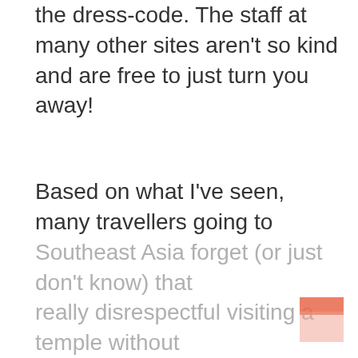the dress-code. The staff at many other sites aren't so kind and are free to just turn you away!
Based on what I've seen, many travellers going to Southeast Asia forget (or just don't know) that really disrespectful visiting a temple without